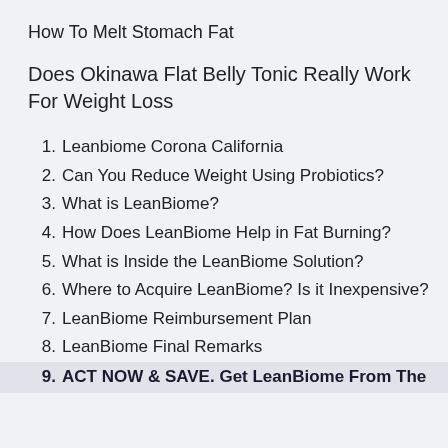How To Melt Stomach Fat
Does Okinawa Flat Belly Tonic Really Work For Weight Loss
1. Leanbiome Corona California
2. Can You Reduce Weight Using Probiotics?
3. What is LeanBiome?
4. How Does LeanBiome Help in Fat Burning?
5. What is Inside the LeanBiome Solution?
6. Where to Acquire LeanBiome? Is it Inexpensive?
7. LeanBiome Reimbursement Plan
8. LeanBiome Final Remarks
9. ACT NOW & SAVE. Get LeanBiome From The Registered Internet site With